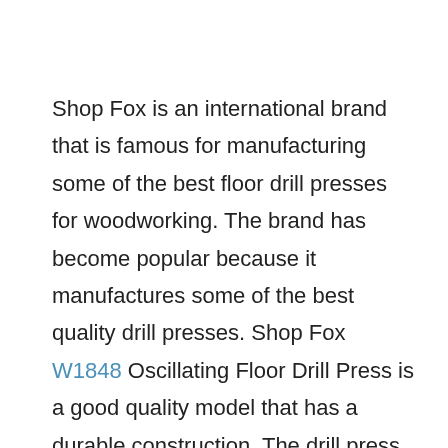Shop Fox is an international brand that is famous for manufacturing some of the best floor drill presses for woodworking. The brand has become popular because it manufactures some of the best quality drill presses. Shop Fox W1848 Oscillating Floor Drill Press is a good quality model that has a durable construction. The drill press comes with some of the best features and can perform efficiently. The drill press also comes at an affordable price and can be the best option for people who are interested in a budget-friendly option. This is the best power tool that you are looking for and can be the perfect option